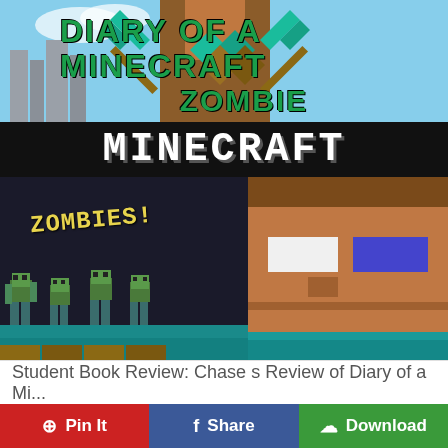[Figure (screenshot): Screenshot of a book review page for 'Diary of a Minecraft Zombie' showing book cover images with Minecraft-themed artwork, the Minecraft logo, zombie characters, and a Steve character. Below the image is a title bar and social sharing buttons.]
Student Book Review: Chase s Review of Diary of a Mi...
Pin It
Share
Download